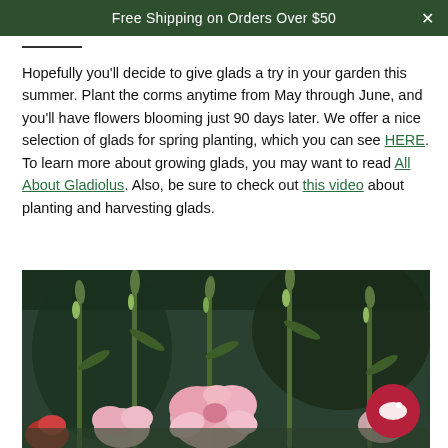Free Shipping on Orders Over $50
Hopefully you'll decide to give glads a try in your garden this summer. Plant the corms anytime from May through June, and you'll have flowers blooming just 90 days later. We offer a nice selection of glads for spring planting, which you can see HERE. To learn more about growing glads, you may want to read All About Gladiolus. Also, be sure to check out this video about planting and harvesting glads.
[Figure (photo): Close-up photograph of pink gladiolus flowers with green stems and buds against a dark green background]